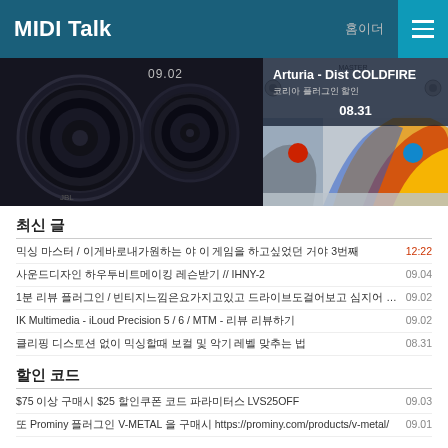MIDI Talk
[Figure (screenshot): Two-panel image strip: left shows studio monitor speaker (dark), right shows Arturia Dist COLDFIRE plugin UI with colorful abstract art]
최신 글
믹싱 마스터 / 이게바로내가원하는 야 이 게임을 하고싶었던 거야 3번째  12:22
사운드디자인 하우투비트메이킹 레슨받기 // IHNY-2  09.04
1분 리뷰 플러그인 / 빈티지느낌은요가지고있고 드라이브도걸어보고 심지어 올인원 w/ V76  09.02
IK Multimedia - iLoud Precision 5 / 6 / MTM - 리뷰 리뷰하기  09.02
클리핑 디스토션 없이 믹싱할때 보컬 및 악기 레벨 맞추는 법  08.31
할인 코드
$75 이상 구매시 $25 할인쿠폰 코드 파라미터스 LVS25OFF  09.03
또 Prominy 플러그인 V-METAL 을 구매시  https://prominy.com/products/v-metal/  09.01